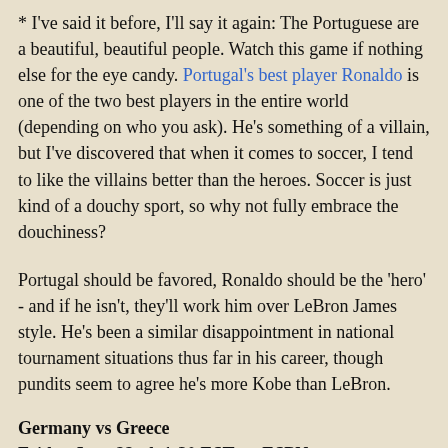* I've said it before, I'll say it again: The Portuguese are a beautiful, beautiful people. Watch this game if nothing else for the eye candy. Portugal's best player Ronaldo is one of the two best players in the entire world (depending on who you ask). He's something of a villain, but I've discovered that when it comes to soccer, I tend to like the villains better than the heroes. Soccer is just kind of a douchy sport, so why not fully embrace the douchiness?
Portugal should be favored, Ronaldo should be the 'hero' - and if he isn't, they'll work him over LeBron James style. He's been a similar disappointment in national tournament situations thus far in his career, though pundits seem to agree he's more Kobe than LeBron.
Germany vs Greece
Friday June 22nd, 1:30 EST on ESPN
* For anyone who enjoys watching CNBC, CNN, or CSPAN, this is the match-up for you. Welcome to the EuroZone! This match is really happening. Repeat, this match is really happening. It seems to me to have near Archduke Ferdinand